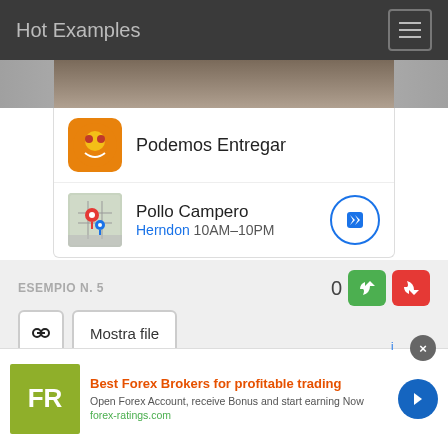Hot Examples
[Figure (screenshot): Google ad card showing Podemos Entregar app and Pollo Campero location (Herndon 10AM-10PM) with navigation button]
ESEMPIO N. 5
0
Mostra file
File: Variable.cpp   Progetto: faxue-msft/lldb
690   static void
691   PrivateAutoComplete(StackFrame, *frame
[Figure (screenshot): Bottom advertisement banner: Best Forex Brokers for profitable trading - FR logo, Open Forex Account, receive Bonus and start earning Now, forex-ratings.com]